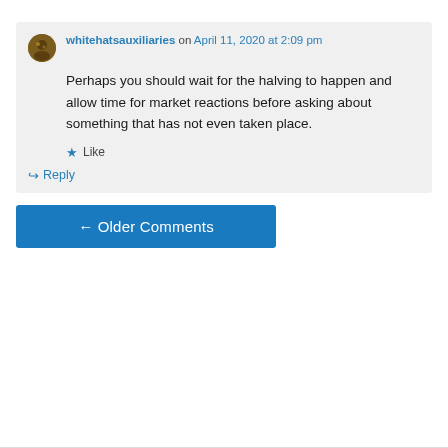whitehatsauxiliaries on April 11, 2020 at 2:09 pm
Perhaps you should wait for the halving to happen and allow time for market reactions before asking about something that has not even taken place.
★ Like
↳ Reply
← Older Comments